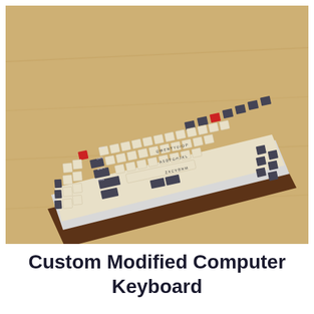[Figure (photo): A custom modified mechanical computer keyboard with cream/beige keycaps, dark gray modifier keys, and red accent keys (Escape and one other), mounted in a wooden walnut base/case. The keyboard is photographed at an angle on a light wood surface.]
Custom Modified Computer Keyboard